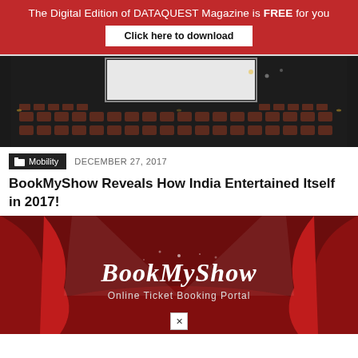The Digital Edition of DATAQUEST Magazine is FREE for you
Click here to download
[Figure (photo): Movie theater interior with rows of red seats and a blank white screen at the front]
Mobility   DECEMBER 27, 2017
BookMyShow Reveals How India Entertained Itself in 2017!
[Figure (photo): BookMyShow branded image with red curtains, stage spotlights, and text 'BookMyShow Online Ticket Booking Portal' on a dark red background]